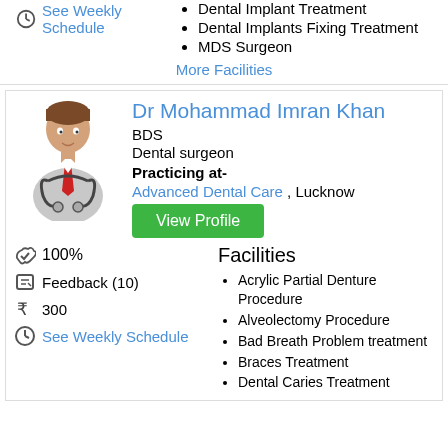See Weekly Schedule
Dental Implant Treatment
Dental Implants Fixing Treatment
MDS Surgeon
More Facilities
Dr Mohammad Imran Khan
BDS
Dental surgeon
Practicing at-
Advanced Dental Care , Lucknow
View Profile
100%
Feedback (10)
300
See Weekly Schedule
Facilities
Acrylic Partial Denture Procedure
Alveolectomy Procedure
Bad Breath Problem treatment
Braces Treatment
Dental Caries Treatment